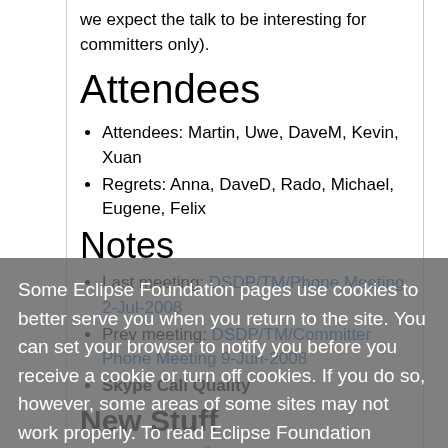we expect the talk to be interesting for committers only).
Attendees
Attendees: Martin, Uwe, DaveM, Kevin, Xuan
Regrets: Anna, DaveD, Rado, Michael, Eugene, Felix
Notes
Last meeting: DSDP/TM/Phone Meeting 2-Jul-2008
Prev meeting: DSDP/TM/Committer Phone Meeting 9-Jun-2008
Skype Call Quality
New Stuff
bug 240991 🔒 Startup creates Display on Worker Thread
DaveM: RSEUIPlugin.start() is not on the Main
Some Eclipse Foundation pages use cookies to better serve you when you return to the site. You can set your browser to notify you before you receive a cookie or turn off cookies. If you do so, however, some areas of some sites may not work properly. To read Eclipse Foundation Privacy Policy click here.